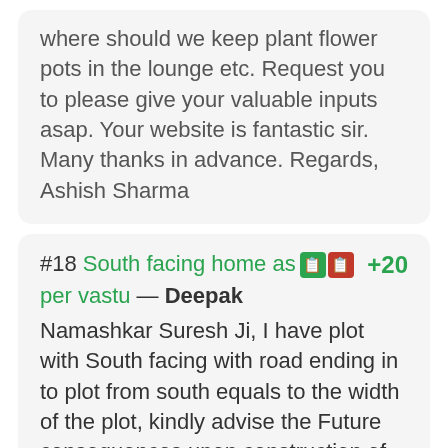where should we keep plant flower pots in the lounge etc. Request you to please give your valuable inputs asap. Your website is fantastic sir. Many thanks in advance. Regards, Ashish Sharma
#18 South facing home as per vastu — Deepak +20 Namashkar Suresh Ji, I have plot with South facing with road ending in to plot from south equals to the width of the plot, kindly advise the Future consequences upon construction of house, please provide vastu remedies